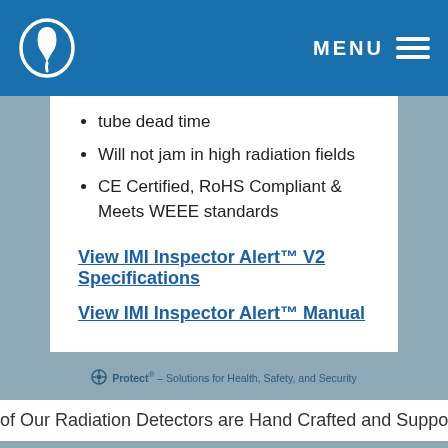MENU
tube dead time
Will not jam in high radiation fields
CE Certified, RoHS Compliant & Meets WEEE standards
View IMI Inspector Alert™ V2 Specifications
View IMI Inspector Alert™ Manual
Protect® – Solutions for Health, Safety, and Security
of Our Radiation Detectors are Hand Crafted and Supported w